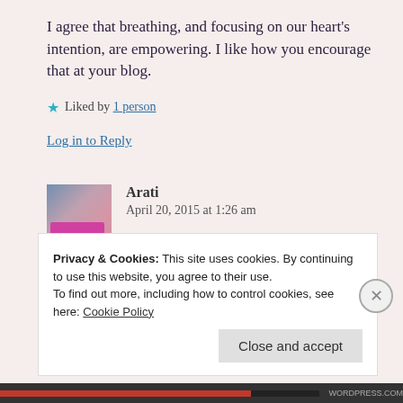I agree that breathing, and focusing on our heart’s intention, are empowering. I like how you encourage that at your blog.
★ Liked by 1 person
Log in to Reply
Arati
April 20, 2015 at 1:26 am
Privacy & Cookies: This site uses cookies. By continuing to use this website, you agree to their use.
To find out more, including how to control cookies, see here: Cookie Policy
Close and accept